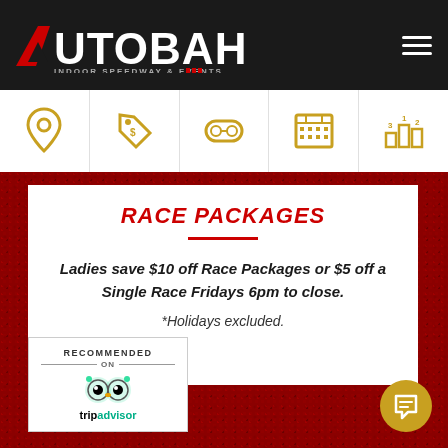AUTOBAHN INDOOR SPEEDWAY & EVENTS
[Figure (infographic): Navigation icon strip with 5 gold icons: location pin, price tag, VR goggles, calendar grid, podium/leaderboard]
RACE PACKAGES
Ladies save $10 off Race Packages or $5 off a Single Race Fridays 6pm to close.
*Holidays excluded.
[Figure (logo): TripAdvisor Recommended On badge with owl logo]
[Figure (other): Gold circular chat/message button]